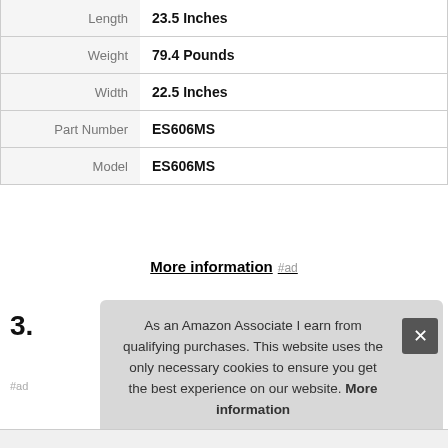| Attribute | Value |
| --- | --- |
| Length | 23.5 Inches |
| Weight | 79.4 Pounds |
| Width | 22.5 Inches |
| Part Number | ES606MS |
| Model | ES606MS |
More information #ad
3.
#ad
As an Amazon Associate I earn from qualifying purchases. This website uses the only necessary cookies to ensure you get the best experience on our website. More information